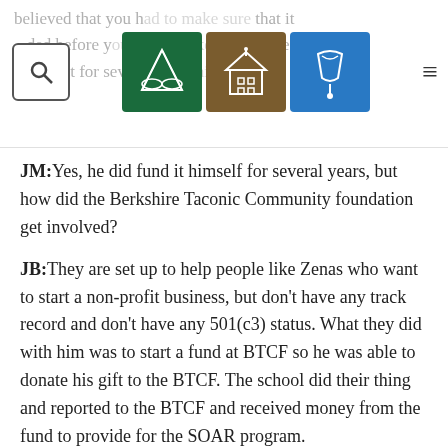believed that you had to make sure that it was funded before you could make money. He funded it for several years himself.
JM:Yes, he did fund it himself for several years, but how did the Berkshire Taconic Community foundation get involved?
JB:They are set up to help people like Zenas who want to start a non-profit business, but don't have any track record and don't have any 501(c3) status. What they did with him was to start a fund at BTCF so he was able to donate his gift to the BTCF. The school did their thing and reported to the BTCF and received money from the fund to provide for the SOAR program.
JM:Did the school have to do matching funds?3.